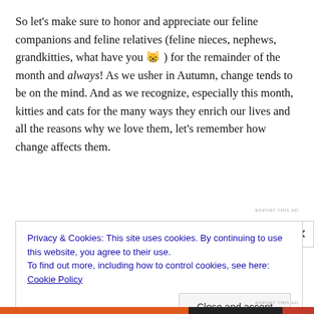So let's make sure to honor and appreciate our feline companions and feline relatives (feline nieces, nephews, grandkitties, what have you 😸 ) for the remainder of the month and always! As we usher in Autumn, change tends to be on the mind. And as we recognize, especially this month, kitties and cats for the many ways they enrich our lives and all the reasons why we love them, let's remember how change affects them.
REPORT THIS AD
Privacy & Cookies: This site uses cookies. By continuing to use this website, you agree to their use.
To find out more, including how to control cookies, see here: Cookie Policy
Close and accept